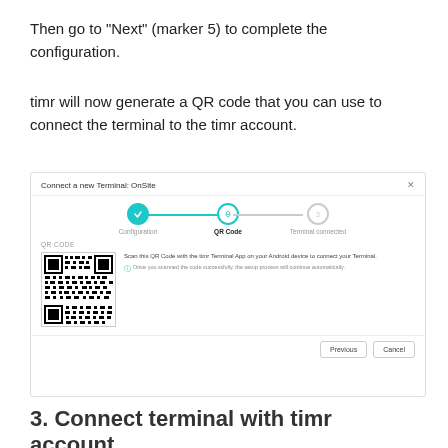Then go to "Next" (marker 5) to complete the configuration.
timr will now generate a QR code that you can use to connect the terminal to the timr account.
[Figure (screenshot): Dialog box titled 'Connect a new Terminal: OnSite' showing a stepper with three steps: Configuration (completed, teal checkmark), QR Code (active, teal lock icon), Terminal connected (inactive, gray). A QR Code section is shown with a QR code image and text 'Scan this QR Code with the timr Terminal App on your Android device to connect your Terminal.' with a note 'Once you scanned the code successfully, the setup process will continue automatically.' Buttons: Previous and Cancel.]
3. Connect terminal with timr account